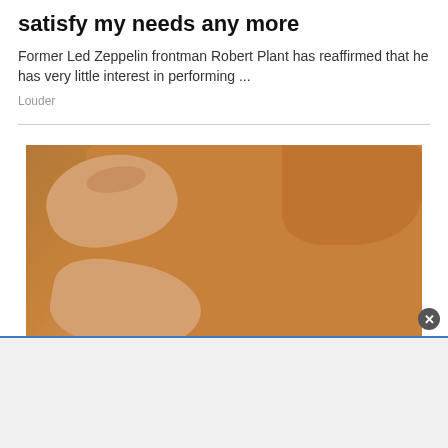satisfy my needs any more
Former Led Zeppelin frontman Robert Plant has reaffirmed that he has very little interest in performing ...
Louder
[Figure (photo): Close-up photo of a person wearing a brown/rust-colored short-sleeve shirt, with hands pressing against the chest area. The background is light grey.]